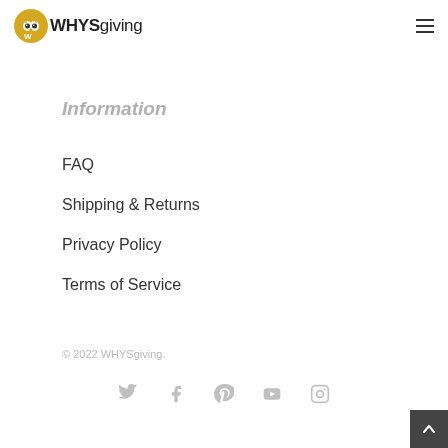WHYSgiving
Information
FAQ
Shipping & Returns
Privacy Policy
Terms of Service
© 2022 WHYSgiving.